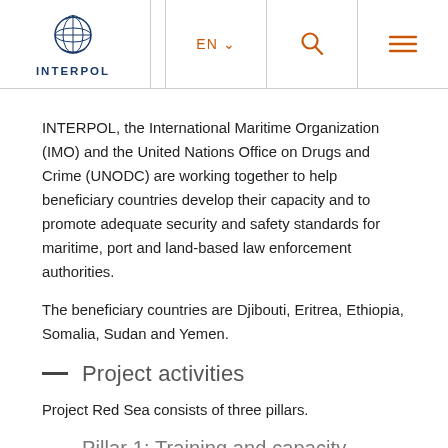INTERPOL [logo] EN v [search] [menu]
INTERPOL, the International Maritime Organization (IMO) and the United Nations Office on Drugs and Crime (UNODC) are working together to help beneficiary countries develop their capacity and to promote adequate security and safety standards for maritime, port and land-based law enforcement authorities.
The beneficiary countries are Djibouti, Eritrea, Ethiopia, Somalia, Sudan and Yemen.
Project activities
Project Red Sea consists of three pillars.
Pillar 1: Training and capacity building